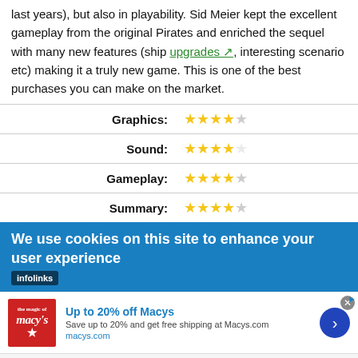last years), but also in playability. Sid Meier kept the excellent gameplay from the original Pirates and enriched the sequel with many new features (ship upgrades, interesting scenario etc) making it a truly new game. This is one of the best purchases you can make on the market.
| Category | Rating |
| --- | --- |
| Graphics: | 4/5 stars |
| Sound: | 3.5/5 stars |
| Gameplay: | 4.5/5 stars |
| Summary: | 4.5/5 stars |
We use cookies on this site to enhance your user experience
[Figure (infographic): Advertisement banner for Macy's: Up to 20% off Macys. Save up to 20% and get free shipping at Macys.com. macys.com]